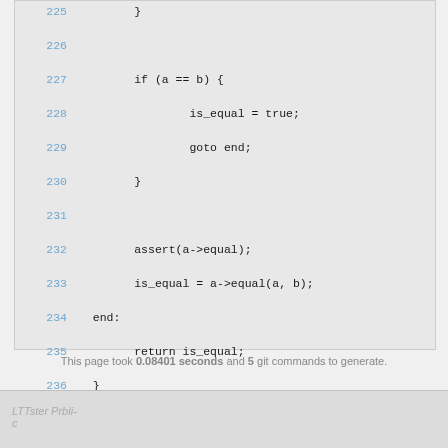[Figure (screenshot): Code viewer showing lines 225-236 of source code with line numbers in blue and code in monospace font on light gray background]
This page took 0.08401 seconds and 5 git commands to generate.
LTT ... Pr... bli...